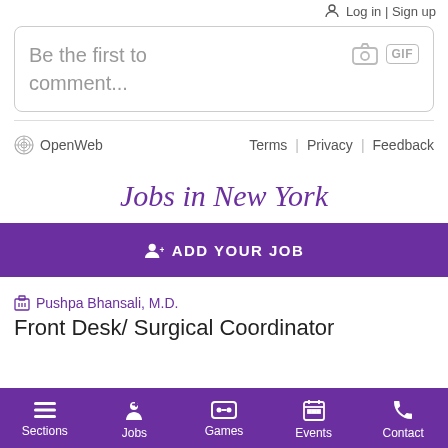Log in | Sign up
Be the first to comment...
OpenWeb  Terms | Privacy | Feedback
Jobs in New York
ADD YOUR JOB
Pushpa Bhansali, M.D.
Front Desk/ Surgical Coordinator
Sections | Jobs | Games | Events | Contact